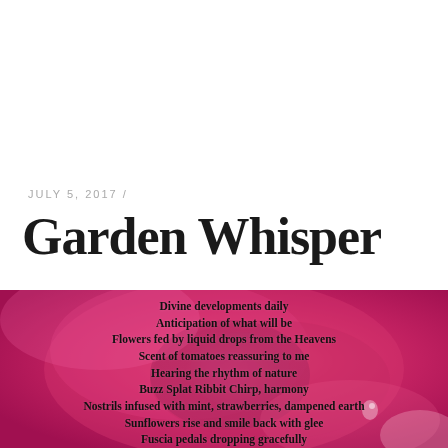JULY 5, 2017 /
Garden Whisper
[Figure (photo): Close-up macro photograph of a pink/fuchsia rose with poem text overlaid in bold black font]
Divine developments daily
Anticipation of what will be
Flowers fed by liquid drops from the Heavens
Scent of tomatoes reassuring to me

Hearing the rhythm of nature
Buzz  Splat  Ribbit  Chirp, harmony
Nostrils infused with mint, strawberries, dampened earth
Sunflowers rise and smile back with glee

Fuscia pedals dropping gracefully
Nourishing soil, releasing life
Timelessness, healing peace, tranquility
Feeds body, mind and soul  no strife